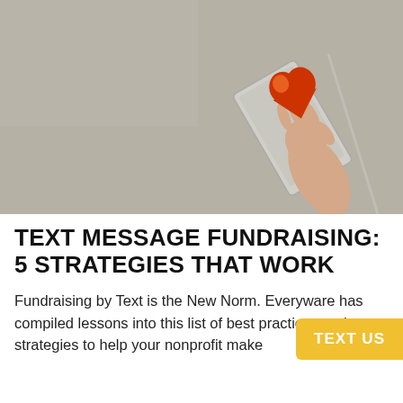[Figure (photo): A hand emerging from a tablet/laptop screen holding a red origami heart shape, against a grey-beige background.]
TEXT MESSAGE FUNDRAISING: 5 STRATEGIES THAT WORK
Fundraising by Text is the New Norm. Everyware has compiled lessons into this list of best practices and strategies to help your nonprofit make